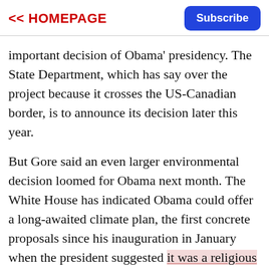<< HOMEPAGE | Subscribe
important decision of Obama' presidency. The State Department, which has say over the project because it crosses the US-Canadian border, is to announce its decision later this year.
But Gore said an even larger environmental decision loomed for Obama next month. The White House has indicated Obama could offer a long-awaited climate plan, the first concrete proposals since his inauguration in January when the president suggested it was a religious and patriotic duty to deal with the challenge